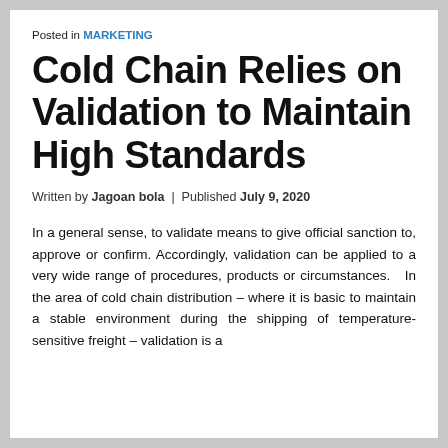Posted in MARKETING
Cold Chain Relies on Validation to Maintain High Standards
Written by Jagoan bola | Published July 9, 2020
In a general sense, to validate means to give official sanction to, approve or confirm. Accordingly, validation can be applied to a very wide range of procedures, products or circumstances. In the area of cold chain distribution – where it is basic to maintain a stable environment during the shipping of temperature-sensitive freight – validation is a